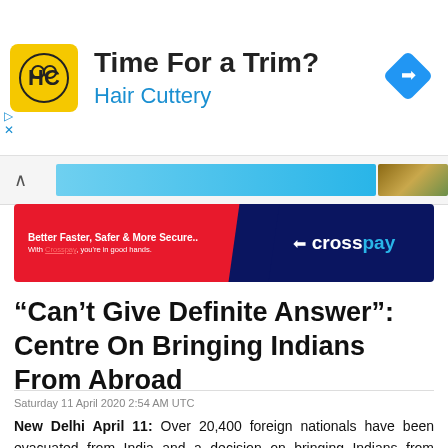[Figure (other): Hair Cuttery advertisement banner with yellow HC logo, text 'Time For a Trim?' and 'Hair Cuttery' in blue, and a blue navigation diamond icon on the right]
[Figure (other): CrossPay advertisement banner with red left section reading 'Better Faster, Safer & More Secure.. With Crosspay, you're in good hands.' and dark navy right section with CrossPay logo]
“Can’t Give Definite Answer”: Centre On Bringing Indians From Abroad
Saturday 11 April 2020 2:54 AM UTC
New Delhi April 11: Over 20,400 foreign nationals have been evacuated from India and a decision on bringing Indians from abroad will be taken at a later stage after reviewing the COVID-19 situation, government said Friday.